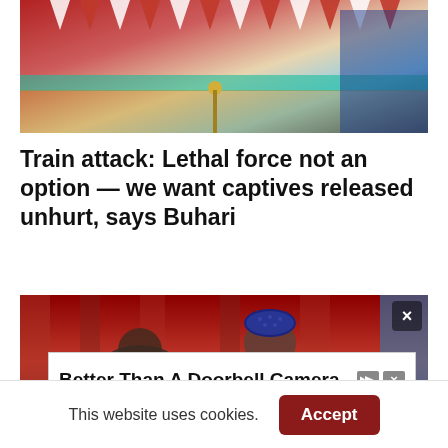[Figure (photo): Photo of a decorated room with red and white bunting/flags and a table setting, possibly a formal government event]
Train attack: Lethal force not an option — we want captives released unhurt, says Buhari
[Figure (photo): Photo of a man wearing a blue patterned cap, seated in front of a red curtain/backdrop, possibly a government official]
Better Than A Doorbell Camera
This website uses cookies.
Accept